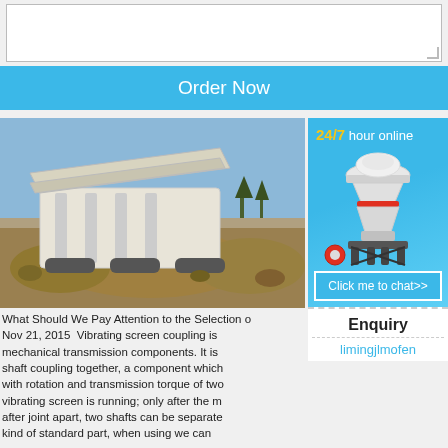[Figure (other): White textarea input box]
Order Now
[Figure (photo): Industrial vibrating screen machine outdoors with rocks and gravel]
What Should We Pay Attention to the Selection o... Nov 21, 2015  Vibrating screen coupling is mechanical transmission components. It is shaft coupling together, a component which with rotation and transmission torque of two vibrating screen is running; only after the m after joint apart, two shafts can be separate kind of standard part, when using we can
Read More
[Figure (infographic): 24/7 hour online banner with cone crusher image and Click me to chat>> button, Enquiry section, limingjlmofen text]
24/7 hour online
Click me to chat>>
Enquiry
limingjlmofen